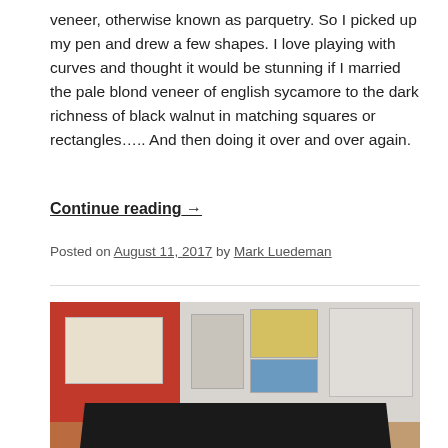veneer, otherwise known as parquetry. So I picked up my pen and drew a few shapes. I love playing with curves and thought it would be stunning if I married the pale blond veneer of english sycamore to the dark richness of black walnut in matching squares or rectangles….. And then doing it over and over again.
Continue reading →
Posted on August 11, 2017 by Mark Luedeman
[Figure (photo): Gallery interior showing artworks hung on red and white/grey walls, with a dark polished table in the foreground on a wooden floor.]